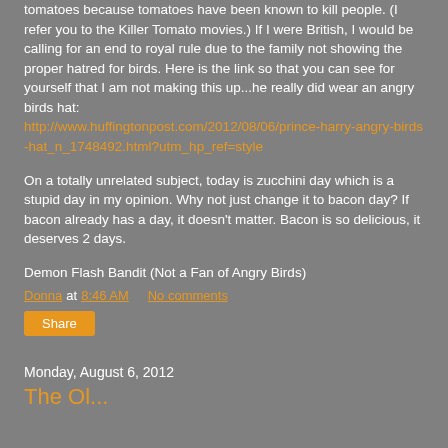tomatoes because tomatoes have been known to kill people. (I refer you to the Killer Tomato movies.) If I were British, I would be calling for an end to royal rule due to the family not showing the proper hatred for birds. Here is the link so that you can see for yourself that I am not making this up...he really did wear an angry birds hat: http://www.huffingtonpost.com/2012/08/06/prince-harry-angry-birds-hat_n_1748492.html?utm_hp_ref=style
On a totally unrelated subject, today is zucchini day which is a stupid day in my opinion. Why not just change it to bacon day? If bacon already has a day, it doesn't matter. Bacon is so delicious, it deserves 2 days.
Demon Flash Bandit (Not a Fan of Angry Birds)
Donna at 8:46 AM   No comments
Share
Monday, August 6, 2012
The Ol...